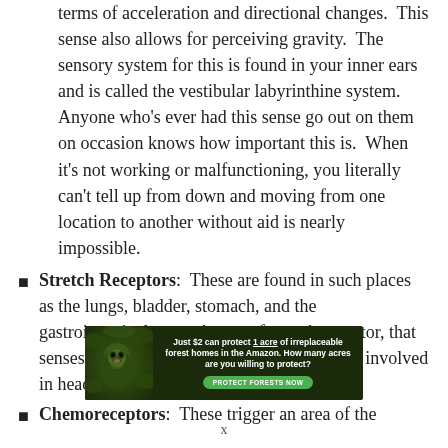terms of acceleration and directional changes.  This sense also allows for perceiving gravity.  The sensory system for this is found in your inner ears and is called the vestibular labyrinthine system.  Anyone who's ever had this sense go out on them on occasion knows how important this is.  When it's not working or malfunctioning, you literally can't tell up from down and moving from one location to another without aid is nearly impossible.
Stretch Receptors:  These are found in such places as the lungs, bladder, stomach, and the gastrointestinal tract.  A type of stretch receptor, that senses dilation of blood vessels, is also often involved in headaches.
Chemoreceptors:  These trigger an area of the
[Figure (photo): Advertisement banner: dark forest background with a primate/monkey image on the left. Text reads: 'Just $2 can protect 1 acre of irreplaceable forest homes in the Amazon. How many acres are you willing to protect?' with a green 'PROTECT FORESTS NOW' button.]
x